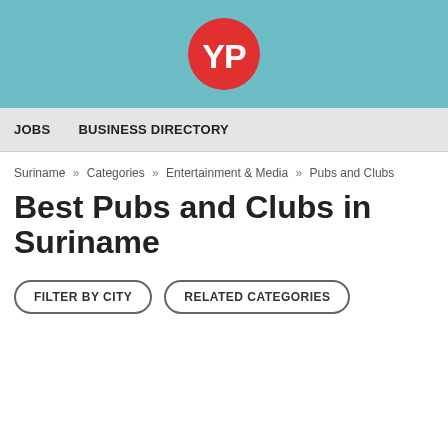[Figure (logo): YP logo — red circle with white 'YP' text, on a teal/cyan header bar]
JOBS   BUSINESS DIRECTORY
Suriname » Categories » Entertainment & Media » Pubs and Clubs
Best Pubs and Clubs in Suriname
FILTER BY CITY   RELATED CATEGORIES